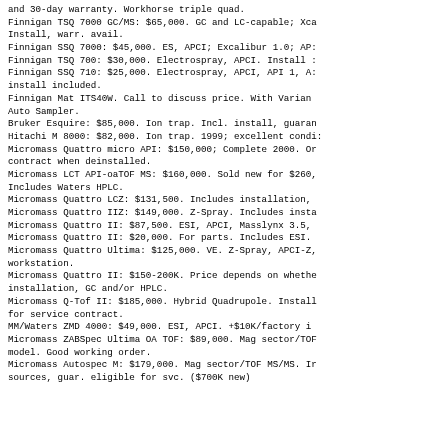and 30-day warranty. Workhorse triple quad.
Finnigan TSQ 7000 GC/MS: $65,000. GC and LC-capable; Xca
    Install, warr. avail.
Finnigan SSQ 7000: $45,000. ES, APCI; Excalibur 1.0; AP:
Finnigan TSQ 700: $30,000. Electrospray, APCI. Install :
Finnigan SSQ 710: $25,000. Electrospray, APCI, API 1, A:
    install included.
Finnigan Mat ITS40W. Call to discuss price. With Varian
    Auto Sampler.
Bruker Esquire: $85,000. Ion trap. Incl. install, guaran
Hitachi M 8000: $82,000. Ion trap. 1999; excellent condi:
Micromass Quattro micro API: $150,000; Complete 2000. Or
    contract when deinstalled.
Micromass LCT API-oaTOF MS: $160,000. Sold new for $260,
    Includes Waters HPLC.
Micromass Quattro LCZ: $131,500. Includes installation,
Micromass Quattro IIZ: $149,000. Z-Spray. Includes insta
Micromass Quattro II: $87,500. ESI, APCI, Masslynx 3.5,
Micromass Quattro II: $20,000. For parts. Includes ESI.
Micromass Quattro Ultima: $125,000. VE. Z-Spray, APCI-Z,
    workstation.
Micromass Quattro II: $150-200K. Price depends on whethe
    installation, GC and/or HPLC.
Micromass Q-Tof II: $185,000. Hybrid Quadrupole. Install
    for service contract.
MM/Waters ZMD 4000: $49,000. ESI, APCI. +$10K/factory i
Micromass ZABSpec Ultima OA TOF: $89,000. Mag sector/TOF
    model. Good working order.
Micromass Autospec M: $179,000. Mag sector/TOF MS/MS. Ir
    sources, guar. eligible for svc. ($700K new)